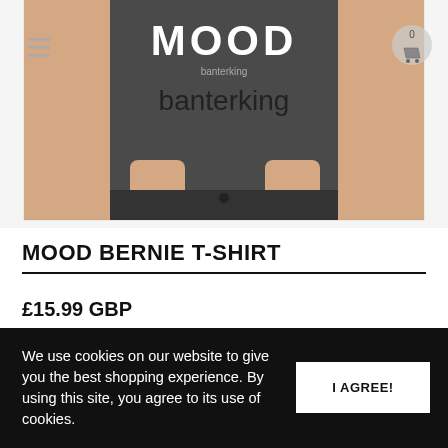[Figure (photo): Person wearing a dark grey 'banterking' apron with MOOD written at top, hands in pockets, cropped to torso. Navigation hamburger icon on left, cart icon with 0 on right.]
MOOD BERNIE T-SHIRT
£15.99 GBP
Quantity : 1
Size
SMALL
MEDIUM
LARGE
XLARGE
XXLARGE
We use cookies on our website to give you the best shopping experience. By using this site, you agree to its use of cookies.